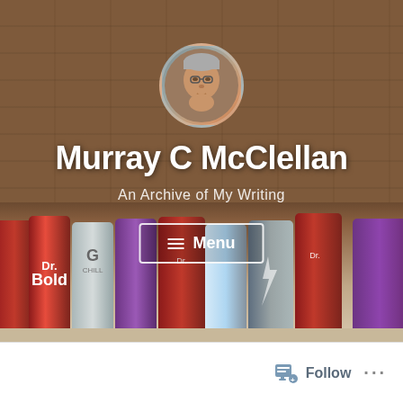[Figure (photo): Website header/banner image for 'Murray C McClellan - An Archive of My Writing'. Background shows a rustic wooden plank wall. A circular profile photo of an elderly man with glasses is centered near the top. Below the avatar is the large bold site title 'Murray C McClellan' and subtitle 'An Archive of My Writing'. A Menu button with hamburger icon appears in the center. The lower portion shows a row of vintage soda cans (Dr. Bold, Dr. Chill, and various Dr. Pepper variants) on a shelf.]
Murray C McClellan
An Archive of My Writing
≡  Menu
Follow
···